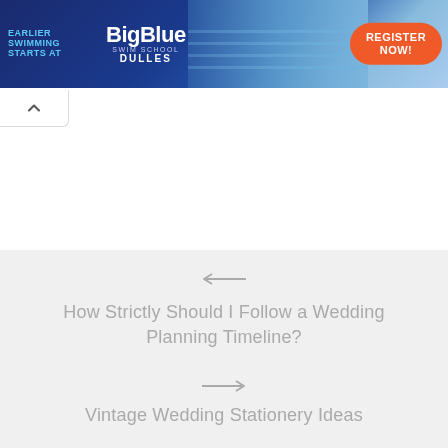[Figure (screenshot): BigBlue Swim School Dulles advertisement banner with blue background, swimming pool image, and orange 'Register Now!' button. Text reads: 'Earlier swimming starts at', 'BigBlue Swim School', 'DULLES']
[Figure (other): Collapse/scroll-up button with upward-pointing chevron arrow, white background with light border]
[Figure (other): Navigation section with light grey background. Previous article link (left arrow): 'How Strictly Should I Follow a Wedding Planning Timeline?'. Next article link (right arrow): 'Vintage Wedding Stationery Ideas']